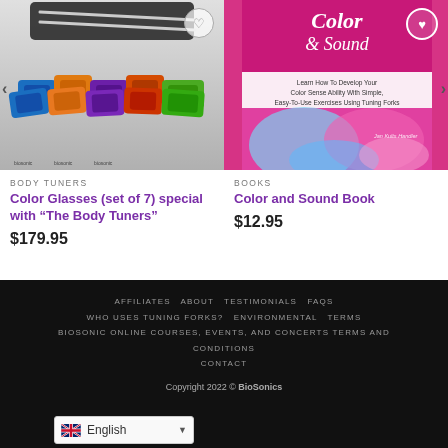[Figure (photo): Colorful set of 7 color glasses in various colors (blue, orange, purple, green) with carrying pouch on top, displayed as product image]
BODY TUNERS
Color Glasses (set of 7) special with "The Body Tuners"
$179.95
[Figure (photo): Book cover for 'Color & Sound' by Jan Kults Handler, pink/magenta cover with colorful swirling abstract art at bottom, subtitle: Learn How To Develop Your Color Sense Ability With Simple, Easy-To-Use Exercises Using Tuning Forks]
BOOKS
Color and Sound Book
$12.95
AFFILIATES  ABOUT  TESTIMONIALS  FAQS  WHO USES TUNING FORKS?  ENVIRONMENTAL  TERMS  BIOSONIC ONLINE COURSES, EVENTS, AND CONCERTS TERMS AND CONDITIONS  CONTACT
Copyright 2022 © BioSonics